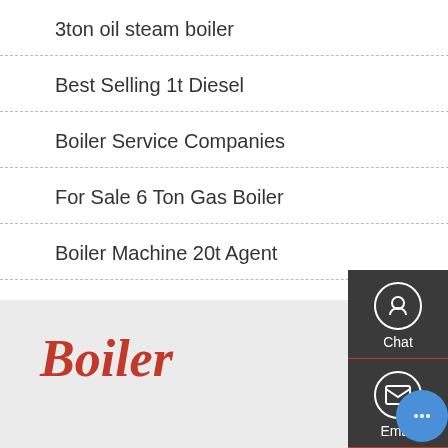3ton oil steam boiler
Boiler Brand Price 20t
Best Selling 1t Diesel
6 Ton Natural Gas Boiler
Boiler Service Companies
Low Price 1t Boiler Brand
For Sale 6 Ton Gas Boiler
8t Boiler Brand Seller
Boiler Machine 20t Agent
Dealer 6t oil fired Steam
Boiler
Hello, Helen here, from Boiler factory 🔔